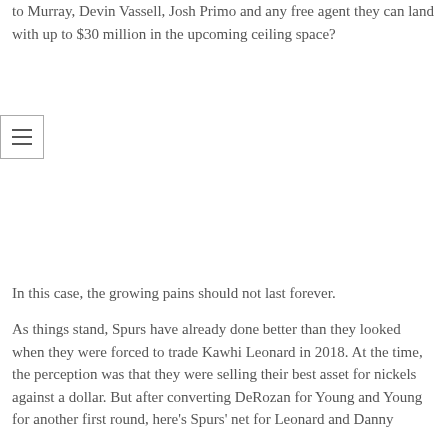to Murray, Devin Vassell, Josh Primo and any free agent they can land with up to $30 million in the upcoming ceiling space?
[Figure (other): Hamburger menu icon button (three horizontal lines) inside a bordered box]
In this case, the growing pains should not last forever.
As things stand, Spurs have already done better than they looked when they were forced to trade Kawhi Leonard in 2018. At the time, the perception was that they were selling their best asset for nickels against a dollar. But after converting DeRozan for Young and Young for another first round, here's Spurs' net for Leonard and Danny